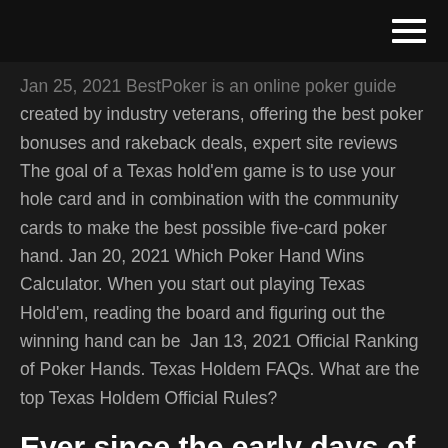[navigation bar with hamburger menu]
Jan 25, 2021 BestPoker is an online poker guide created by industry veterans, offering the best poker bonuses and rakeback deals, expert site reviews  The goal of a Texas hold'em game is to use your hole card and in combination with the community cards to make the best possible five-card poker hand. Jan 20, 2021 Which Poker Hand Wins Calculator. When you start out playing Texas Hold'em, reading the board and figuring out the winning hand can be  Jan 13, 2021 Official Ranking of Poker Hands. Texas Holdem FAQs. What are the top Texas Holdem Official Rules?
Ever since the early days of Texas holdem poker, players have